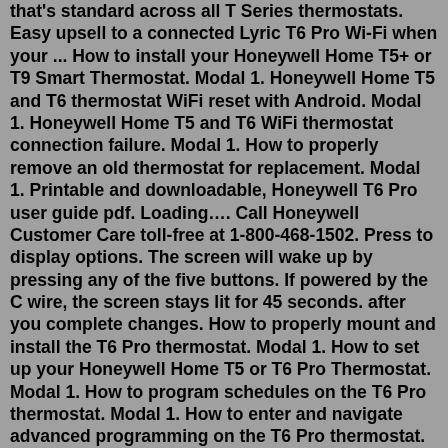that's standard across all T Series thermostats. Easy upsell to a connected Lyric T6 Pro Wi-Fi when your ... How to install your Honeywell Home T5+ or T9 Smart Thermostat. Modal 1. Honeywell Home T5 and T6 thermostat WiFi reset with Android. Modal 1. Honeywell Home T5 and T6 WiFi thermostat connection failure. Modal 1. How to properly remove an old thermostat for replacement. Modal 1. Printable and downloadable, Honeywell T6 Pro user guide pdf. Loading…. Call Honeywell Customer Care toll-free at 1-800-468-1502. Press to display options. The screen will wake up by pressing any of the five buttons. If powered by the C wire, the screen stays lit for 45 seconds. after you complete changes. How to properly mount and install the T6 Pro thermostat. Modal 1. How to set up your Honeywell Home T5 or T6 Pro Thermostat. Modal 1. How to program schedules on the T6 Pro thermostat. Modal 1. How to enter and navigate advanced programming on the T6 Pro thermostat. Modal 1. Show all.Buy on Amazon. 5. Honeywell RTH9585WF1004 T6 Pro 3-4-5...